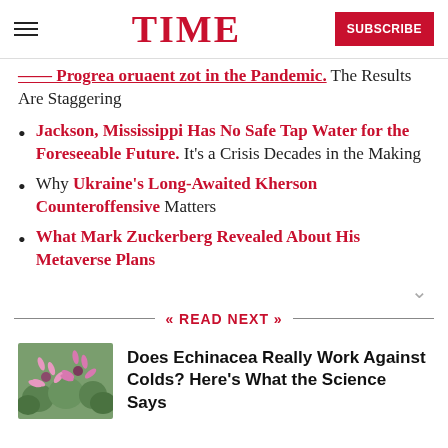TIME | SUBSCRIBE
Pandemic. The Results Are Staggering
Jackson, Mississippi Has No Safe Tap Water for the Foreseeable Future. It's a Crisis Decades in the Making
Why Ukraine's Long-Awaited Kherson Counteroffensive Matters
What Mark Zuckerberg Revealed About His Metaverse Plans
READ NEXT
Does Echinacea Really Work Against Colds? Here's What the Science Says
[Figure (photo): Pink echinacea flowers in a field]